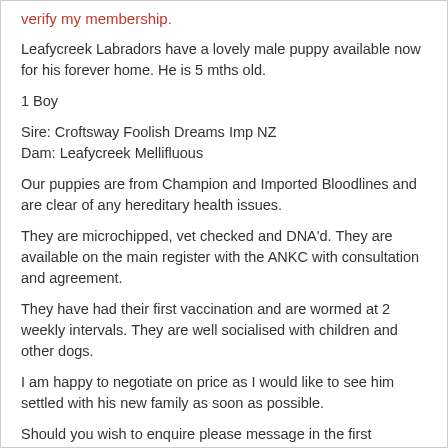verify my membership.
Leafycreek Labradors have a lovely male puppy available now for his forever home. He is 5 mths old.
1 Boy
Sire: Croftsway Foolish Dreams Imp NZ
Dam: Leafycreek Mellifluous
Our puppies are from Champion and Imported Bloodlines and are clear of any hereditary health issues.
They are microchipped, vet checked and DNA'd. They are available on the main register with the ANKC with consultation and agreement.
They have had their first vaccination and are wormed at 2 weekly intervals. They are well socialised with children and other dogs.
I am happy to negotiate on price as I would like to see him settled with his new family as soon as possible.
Should you wish to enquire please message in the first instance and I will phone you back as I'm not always available immediately